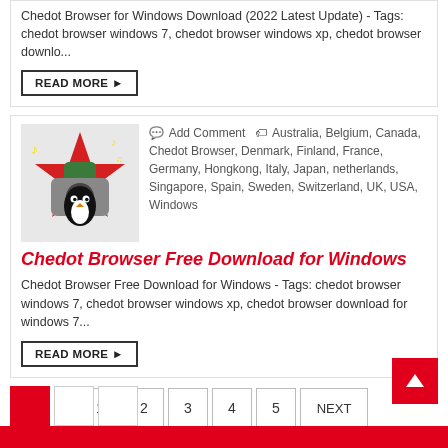Chedot Browser for Windows Download (2022 Latest Update) - Tags: chedot browser windows 7, chedot browser windows xp, chedot browser downlo...
READ MORE ▶
Add Comment   Australia, Belgium, Canada, Chedot Browser, Denmark, Finland, France, Germany, Hongkong, Italy, Japan, netherlands, Singapore, Spain, Sweden, Switzerland, UK, USA, Windows
Chedot Browser Free Download for Windows
Chedot Browser Free Download for Windows - Tags: chedot browser windows 7, chedot browser windows xp, chedot browser download for windows 7...
READ MORE ▶
1  2  3  4  5  NEXT